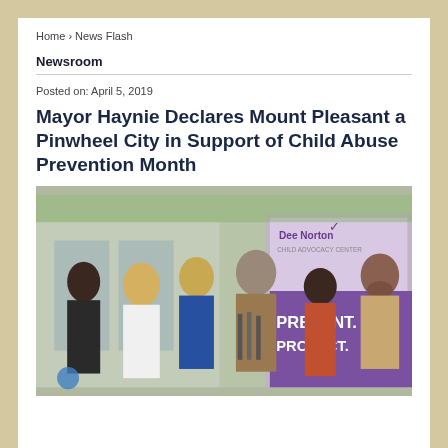Home › News Flash
Newsroom
Posted on: April 5, 2019
Mayor Haynie Declares Mount Pleasant a Pinwheel City in Support of Child Abuse Prevention Month
[Figure (photo): Press conference photo showing six people standing outdoors in front of a Dee Norton Child Advocacy Center banner that reads PREVENT. PROTECT. A man at the center speaks at a podium with microphones. People include women and a man with a beard on the right.]